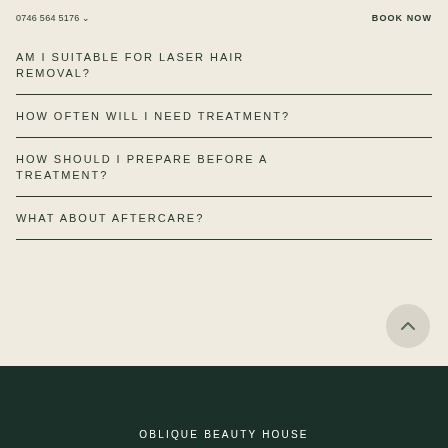0746 564 5176  BOOK NOW
AM I SUITABLE FOR LASER HAIR REMOVAL?
HOW OFTEN WILL I NEED TREATMENT?
HOW SHOULD I PREPARE BEFORE A TREATMENT?
WHAT ABOUT AFTERCARE?
OBLIQUE BEAUTY HOUSE